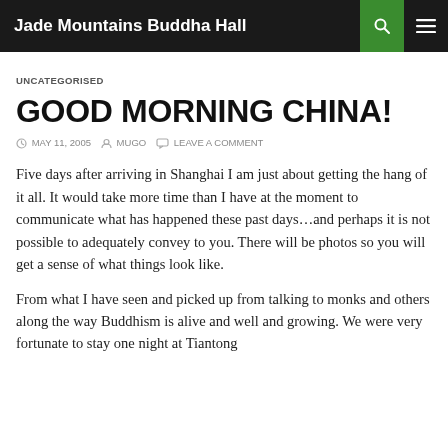Jade Mountains Buddha Hall
UNCATEGORISED
GOOD MORNING CHINA!
MAY 11, 2005   MUGO   LEAVE A COMMENT
Five days after arriving in Shanghai I am just about getting the hang of it all. It would take more time than I have at the moment to communicate what has happened these past days…and perhaps it is not possible to adequately convey to you. There will be photos so you will get a sense of what things look like.
From what I have seen and picked up from talking to monks and others along the way Buddhism is alive and well and growing. We were very fortunate to stay one night at Tiantong